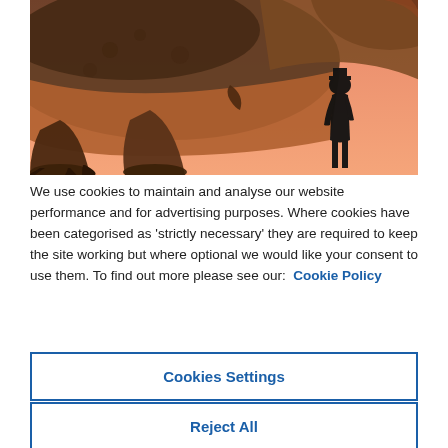[Figure (illustration): A large dinosaur (T-Rex like) rendered in 3D with brownish-dark coloring, shown from the side/rear, looming over a small black silhouette of a human figure. The background is an orange-salmon gradient.]
We use cookies to maintain and analyse our website performance and for advertising purposes. Where cookies have been categorised as 'strictly necessary' they are required to keep the site working but where optional we would like your consent to use them. To find out more please see our: Cookie Policy
Cookies Settings
Reject All